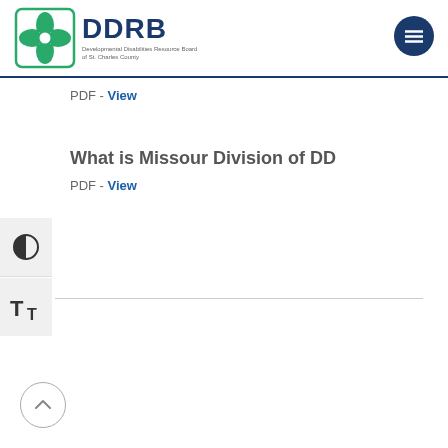[Figure (logo): DDRB logo with green four-leaf clover icon and blue DDRB text, subtitle: Developmental Disabilities Resource Board of St. Charles County]
PDF - View
What is Missour Division of DD
PDF - View
[Figure (other): Left sidebar with contrast toggle button (half-circle icon) and text size toggle button (TT icon)]
[Figure (other): Back to top arrow button (circle with upward chevron)]